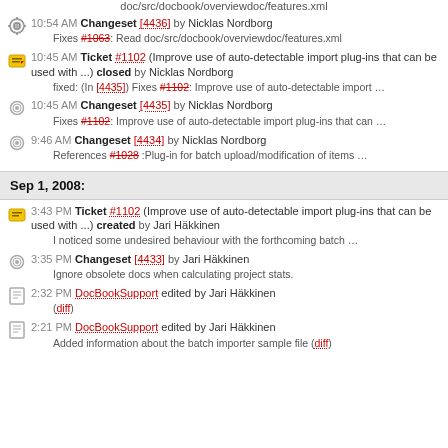doc/src/docbook/overviewdoc/features.xml
10:54 AM Changeset [4436] by Nicklas Nordborg
Fixes #1063: Read doc/src/docbook/overviewdoc/features.xml
10:45 AM Ticket #1102 (Improve use of auto-detectable import plug-ins that can be used with ...) closed by Nicklas Nordborg
fixed: (In [4435]) Fixes #1102: Improve use of auto-detectable import ...
10:45 AM Changeset [4435] by Nicklas Nordborg
Fixes #1102: Improve use of auto-detectable import plug-ins that can ...
9:46 AM Changeset [4434] by Nicklas Nordborg
References #1028 :Plug-in for batch upload/modification of items ...
Sep 1, 2008:
3:43 PM Ticket #1102 (Improve use of auto-detectable import plug-ins that can be used with ...) created by Jari Häkkinen
I noticed some undesired behaviour with the forthcoming batch ...
3:35 PM Changeset [4433] by Jari Häkkinen
Ignore obsolete docs when calculating project stats.
2:32 PM DocBookSupport edited by Jari Häkkinen
(diff)
2:21 PM DocBookSupport edited by Jari Häkkinen
Added information about the batch importer sample file (diff)